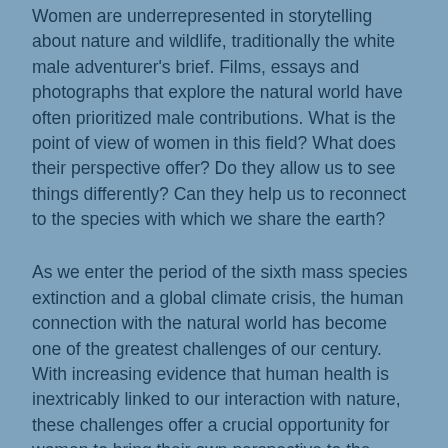Women are underrepresented in storytelling about nature and wildlife, traditionally the white male adventurer's brief. Films, essays and photographs that explore the natural world have often prioritized male contributions. What is the point of view of women in this field? What does their perspective offer? Do they allow us to see things differently? Can they help us to reconnect to the species with which we share the earth?
As we enter the period of the sixth mass species extinction and a global climate crisis, the human connection with the natural world has become one of the greatest challenges of our century. With increasing evidence that human health is inextricably linked to our interaction with nature, these challenges offer a crucial opportunity for women to bring their own perspective to the portrayal of the wild world.
It is important now more than ever to give space to the female point of view.